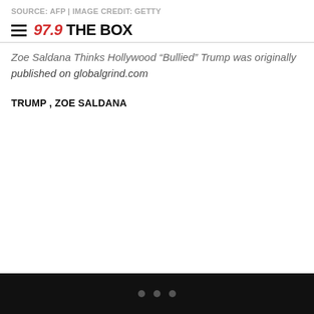SOURCE: AFP | IMAGE CREDIT: Getty
[Figure (logo): 97.9 The Box radio station logo with hamburger menu icon]
Zoe Saldana Thinks Hollywood “Bullied” Trump was originally published on globalgrind.com
TRUMP , ZOE SALDANA